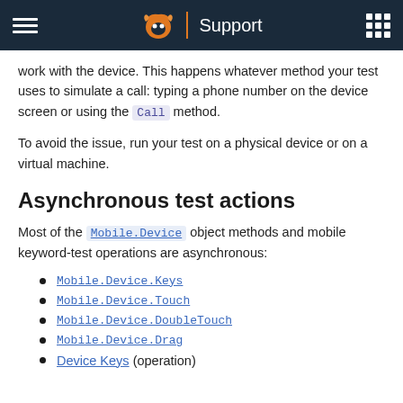Support
work with the device. This happens whatever method your test uses to simulate a call: typing a phone number on the device screen or using the Call method.
To avoid the issue, run your test on a physical device or on a virtual machine.
Asynchronous test actions
Most of the Mobile.Device object methods and mobile keyword-test operations are asynchronous:
Mobile.Device.Keys
Mobile.Device.Touch
Mobile.Device.DoubleTouch
Mobile.Device.Drag
Device Keys (operation)